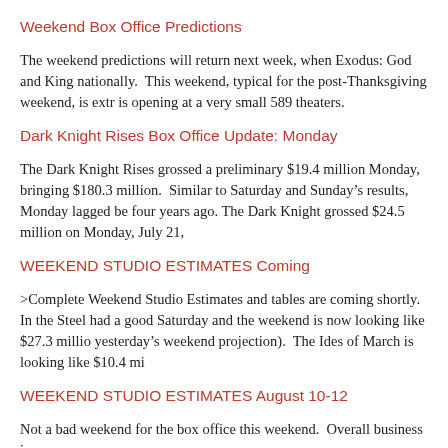Weekend Box Office Predictions
The weekend predictions will return next week, when Exodus: God and King nationally. This weekend, typical for the post-Thanksgiving weekend, is extr is opening at a very small 589 theaters.
Dark Knight Rises Box Office Update: Monday
The Dark Knight Rises grossed a preliminary $19.4 million Monday, bringing $180.3 million. Similar to Saturday and Sunday’s results, Monday lagged be four years ago. The Dark Knight grossed $24.5 million on Monday, July 21,
WEEKEND STUDIO ESTIMATES Coming
>Complete Weekend Studio Estimates and tables are coming shortly. In the Steel had a good Saturday and the weekend is now looking like $27.3 millio yesterday’s weekend projection). The Ides of March is looking like $10.4 mi
WEEKEND STUDIO ESTIMATES August 10-12
Not a bad weekend for the box office this weekend. Overall business is up